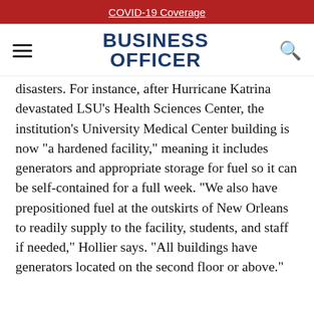COVID-19 Coverage
[Figure (logo): Business Officer magazine logo with hamburger menu icon on left and search icon on right]
disasters. For instance, after Hurricane Katrina devastated LSU's Health Sciences Center, the institution's University Medical Center building is now "a hardened facility," meaning it includes generators and appropriate storage for fuel so it can be self-contained for a full week. "We also have prepositioned fuel at the outskirts of New Orleans to readily supply to the facility, students, and staff if needed," Hollier says. "All buildings have generators located on the second floor or above."